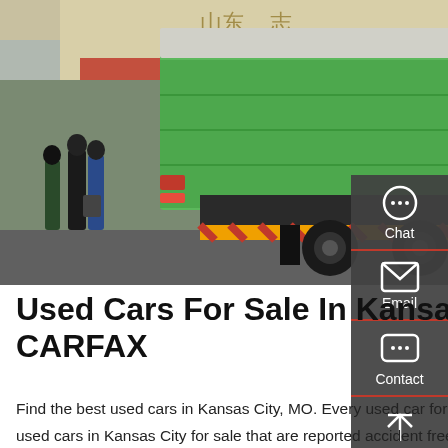[Figure (photo): Rear view of a large green garbage/dump truck with a tarp cover, parked at what appears to be a Chinese government building. Several people in suits visible on the left side.]
Used Cars For Sale In Kansas City, MO (With Photos) - CARFAX
Find the best used cars in Kansas City, MO. Every used car for sale comes with a free CARFAX Report. We have 6,836 used cars in Kansas City for sale that are reported accident free, 4,269 1-Owner cars, and 6,182 personal use cars.